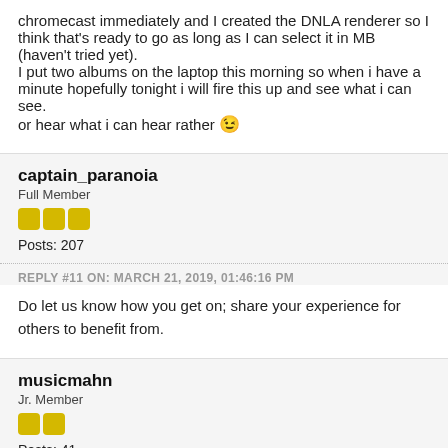chromecast immediately and I created the DNLA renderer so I think that's ready to go as long as I can select it in MB (haven't tried yet).
I put two albums on the laptop this morning so when i have a minute hopefully tonight i will fire this up and see what i can see.
or hear what i can hear rather 😉
captain_paranoia
Full Member
Posts: 207
REPLY #11 ON: MARCH 21, 2019, 01:46:16 PM
Do let us know how you get on; share your experience for others to benefit from.
musicmahn
Jr. Member
Posts: 41